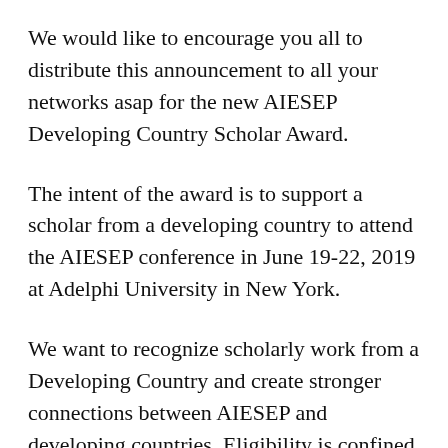We would like to encourage you all to distribute this announcement to all your networks asap for the new AIESEP Developing Country Scholar Award.
The intent of the award is to support a scholar from a developing country to attend the AIESEP conference in June 19-22, 2019 at Adelphi University in New York.
We want to recognize scholarly work from a Developing Country and create stronger connections between AIESEP and developing countries. Eligibility is confined to faculty